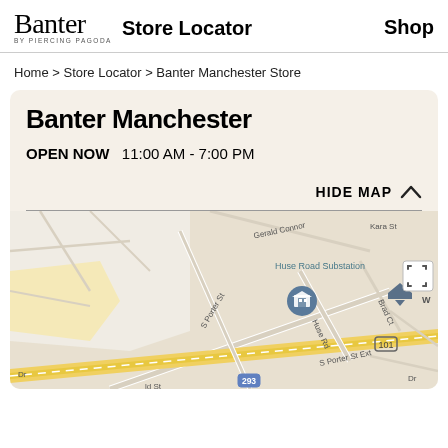Banter by Piercing Pagoda  Store Locator  Shop
Home > Store Locator > Banter Manchester Store
Banter Manchester
OPEN NOW   11:00 AM - 7:00 PM
HIDE MAP ∧
[Figure (map): Google Maps view showing the area around the Banter Manchester store near Huse Road Substation, with streets including Gerald Connor, Kara St, S Porter St, S Porter St Ext, Brad Ct, Huse Rd, and routes 101 and 293 visible.]